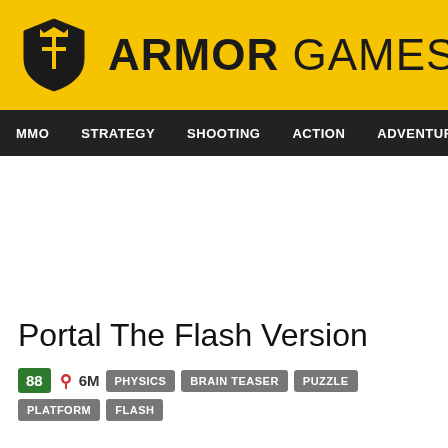[Figure (logo): Armor Games logo with yellow background, shield icon and bold text ARMOR GAMES]
MMO  STRATEGY  SHOOTING  ACTION  ADVENTURE  P
Portal The Flash Version
88  6M  PHYSICS  BRAIN TEASER  PUZZLE  PLATFORM  FLASH